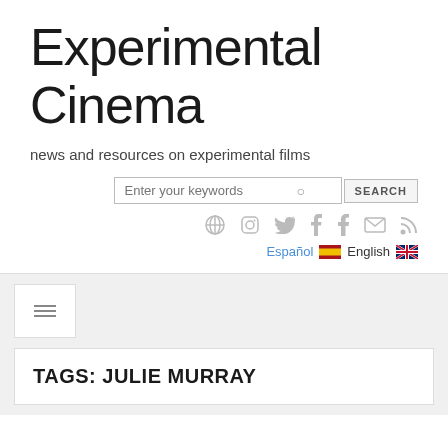Experimental Cinema
news and resources on experimental films
[Figure (screenshot): Search bar with placeholder 'Enter your keywords' and a SEARCH button]
[Figure (infographic): Social media icons row: globe/network, Instagram, Twitter, Tumblr, Facebook, email, RSS]
Español  English
[Figure (infographic): Hamburger menu navigation button]
TAGS: JULIE MURRAY